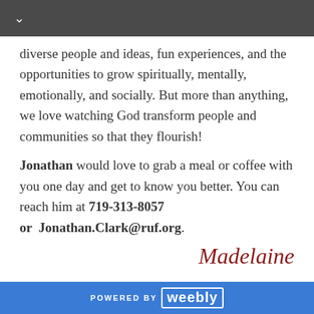∨
diverse people and ideas, fun experiences, and the opportunities to grow spiritually, mentally, emotionally, and socially. But more than anything, we love watching God transform people and communities so that they flourish!
Jonathan would love to grab a meal or coffee with you one day and get to know you better. You can reach him at 719-313-8057 or  Jonathan.Clark@ruf.org.
Madelaine
POWERED BY weebly